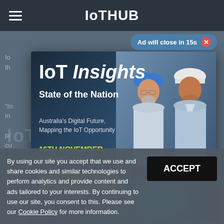IoTHUB
Ad will close in 15s ✕
[Figure (screenshot): IoT Insights State of the Nation advertisement popup. Shows two engineers in hard hats (one blue, one white) looking at industrial equipment. Ad text: 'IoT Insights State of the Nation — Australia's Digital Future, Mapping the IoT Opportunity — 16TH NOVEMBER, SYDNEY CBD — Get tickets now!']
By using our site you accept that we use and share cookies and similar technologies to perform analytics and provide content and ads tailored to your interests. By continuing to use our site, you consent to this. Please see our Cookie Policy for more information.
ACCEPT